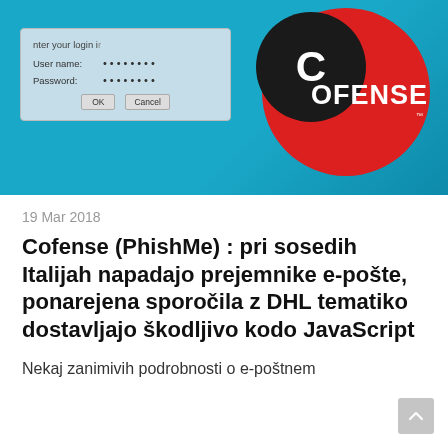[Figure (photo): Hero image showing a login dialog box with username/password fields against a teal/blue background, with the Cofense logo (white text on black circle, with red circle) overlaid on the right side.]
19 Mar 2018
Cofense (PhishMe) : pri sosedih Italijah napadajo prejemnike e-pošte, ponarejena sporočila z DHL tematiko dostavljajo škodljivo kodo JavaScript
Nekaj zanimivih podrobnosti o e-poštnem